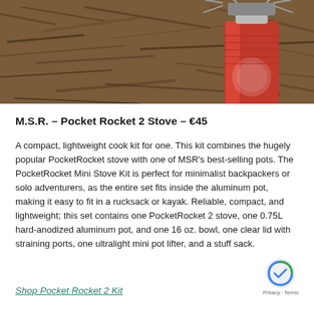[Figure (photo): Outdoor photo of an MSR PocketRocket 2 stove mounted on a red gas canister, sitting on mulch/wood chip ground]
M.S.R. – Pocket Rocket 2 Stove – €45
A compact, lightweight cook kit for one. This kit combines the hugely popular PocketRocket stove with one of MSR's best-selling pots. The PocketRocket Mini Stove Kit is perfect for minimalist backpackers or solo adventurers, as the entire set fits inside the aluminum pot, making it easy to fit in a rucksack or kayak. Reliable, compact, and lightweight; this set contains one PocketRocket 2 stove, one 0.75L hard-anodized aluminum pot, and one 16 oz. bowl, one clear lid with straining ports, one ultralight mini pot lifter, and a stuff sack.
Shop Pocket Rocket 2 Kit